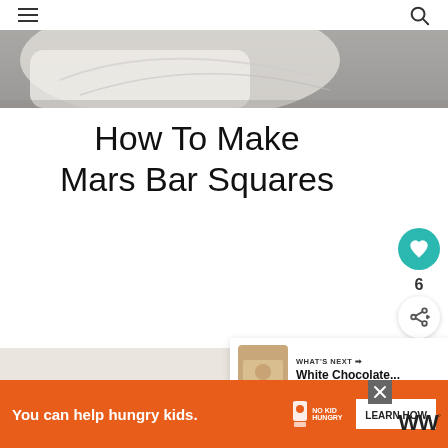[Figure (photo): Close-up photo of dough or pastry on a surface, partially visible at the top of the page]
How To Make Mars Bar Squares
[Figure (photo): What's Next thumbnail showing White Chocolate...]
[Figure (photo): Background content area below the title, light grey/beige tone]
WHAT'S NEXT → White Chocolate...
[Figure (infographic): Advertisement bar: You can help hungry kids. No Kid Hungry logo. LEARN HOW button. Close X button.]